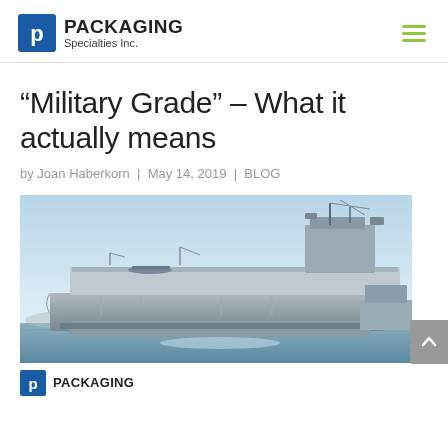Packaging Specialties Inc. — navigation header with logo and hamburger menu
“Military Grade” – What it actually means
by Joan Haberkorn | May 14, 2019 | BLOG
[Figure (photo): Photograph of a large military aircraft carrier ship docked in water, viewed from the side, with a light blue sky background.]
PACKAGING